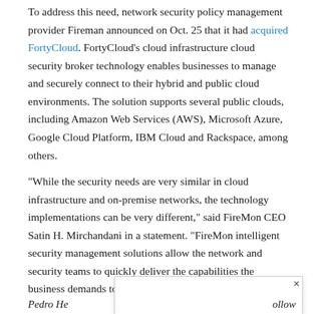To address this need, network security policy management provider Fireman announced on Oct. 25 that it had acquired FortyCloud. FortyCloud's cloud infrastructure cloud security broker technology enables businesses to manage and securely connect to their hybrid and public cloud environments. The solution supports several public clouds, including Amazon Web Services (AWS), Microsoft Azure, Google Cloud Platform, IBM Cloud and Rackspace, among others.
“While the security needs are very similar in cloud infrastructure and on-premise networks, the technology implementations can be very different,” said FireMon CEO Satin H. Mirchandani in a statement. “FireMon intelligent security management solutions allow the network and security teams to quickly deliver the capabilities the business demands to stay competitive.”
[Figure (other): A popup/overlay box appearing over the bottom of the article content, with a close (x) button in the top right corner.]
Pedro He… …ollow